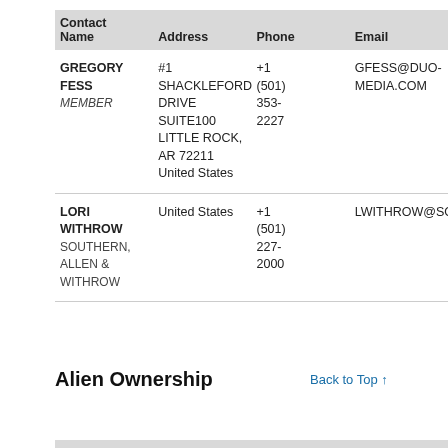| Contact |  |  |  |
| --- | --- | --- | --- |
| Name | Address | Phone | Email |
| GREGORY FESS
MEMBER | #1 SHACKLEFORD DRIVE SUITE100 LITTLE ROCK, AR 72211 United States | +1 (501) 353-2227 | GFESS@DUO-MEDIA.COM |
| LORI WITHROW
SOUTHERN, ALLEN & WITHROW | United States | +1 (501) 227-2000 | LWITHROW@SOUTHERN... |
Alien Ownership
Back to Top ↑